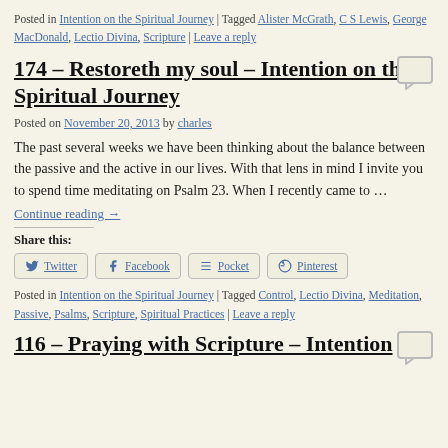Posted in Intention on the Spiritual Journey | Tagged Alister McGrath, C S Lewis, George MacDonald, Lectio Divina, Scripture | Leave a reply
174 – Restoreth my soul – Intention on the Spiritual Journey
Posted on November 20, 2013 by charles
The past several weeks we have been thinking about the balance between the passive and the active in our lives. With that lens in mind I invite you to spend time meditating on Psalm 23. When I recently came to …
Continue reading →
Share this:
Twitter  Facebook  Pocket  Pinterest
Posted in Intention on the Spiritual Journey | Tagged Control, Lectio Divina, Meditation, Passive, Psalms, Scripture, Spiritual Practices | Leave a reply
116 – Praying with Scripture – Intention